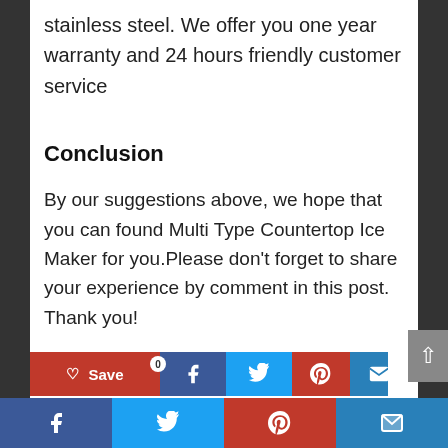stainless steel. We offer you one year warranty and 24 hours friendly customer service
Conclusion
By our suggestions above, we hope that you can found Multi Type Countertop Ice Maker for you.Please don't forget to share your experience by comment in this post. Thank you!
Save | Facebook | Twitter | Pinterest | Email social share bar